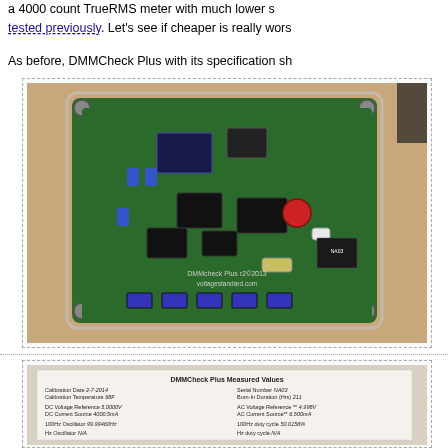a 4000 count TrueRMS meter with much lower s... tested previously. Let's see if cheaper is really wors...
As before, DMMCheck Plus with its specification sh...
[Figure (photo): Photo of DMMCheck Plus v2 circuit board inside a clear acrylic enclosure, showing green PCB with various electronic components, labeled 'DMMCheck Plus v2 © 2013 voltagestandard.com', sitting on a wooden surface]
[Figure (photo): Photo of DMMCheck Plus measured values calibration sheet showing: Calibration Date 2-7-2014, Serial Number NA03, Calibration Temperature 68F, Burn-In Duration (Hrs) 211, DC Voltage Reference 5.0000V, AC Voltage Reference 4.998V, DC Current Source 4000.5mA, AC Current Source 6.500mA, 100Hz Oscillator 99.99460Hz, 100Hz duty cycle 50.0156%, Hz Oscillator N/A, Hz duty cycle N/A]